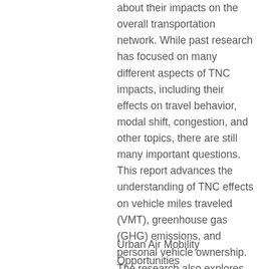about their impacts on the overall transportation network. While past research has focused on many different aspects of TNC impacts, including their effects on travel behavior, modal shift, congestion, and other topics, there are still many important questions. This report advances the understanding of TNC effects on vehicle miles traveled (VMT), greenhouse gas (GHG) emissions, and personal vehicle ownership. The research also explores key questions regarding the impact of pooled TNC services, Lyft Shared rides and uberPOOL, and further investigates how TNCs alter the use of other transportation modes, including public transit.   View...
Urban Air Mobility Opportunities